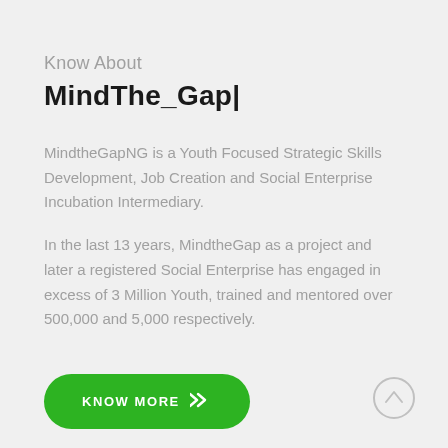Know About
MindThe_Gap|
MindtheGapNG is a Youth Focused Strategic Skills Development, Job Creation and Social Enterprise Incubation Intermediary.
In the last 13 years, MindtheGap as a project and later a registered Social Enterprise has engaged in excess of 3 Million Youth, trained and mentored over 500,000 and 5,000 respectively.
[Figure (other): Green rounded button with text KNOW MORE and double arrow icon]
[Figure (other): Circle scroll-up button with upward chevron arrow in bottom-right corner]